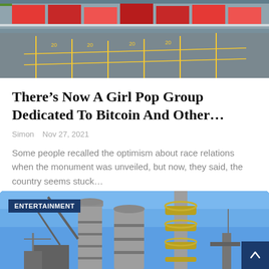[Figure (photo): Aerial or ground-level view of a shipping/container yard with yellow markings on asphalt and stacked colored shipping containers in the background]
There’s Now A Girl Pop Group Dedicated To Bitcoin And Other…
Simon  Nov 27, 2021
Some people recalled the optimism about race relations when the monument was unveiled, but now, they said, the country seems stuck…
[Figure (photo): Industrial structures — tall metallic silos and tower equipment against a bright blue sky, with an ENTERTAINMENT category badge overlay]